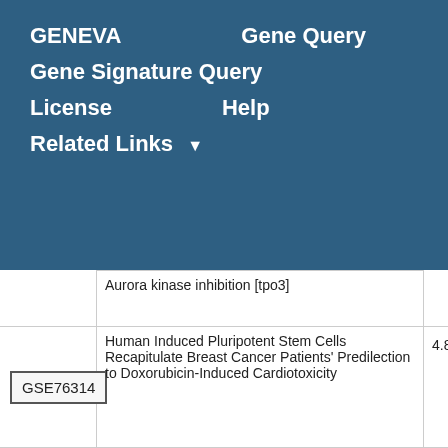GENEVA   Gene Query
Gene Signature Query
License   Help
Related Links ▾
|  | Title | Score |
| --- | --- | --- |
|  | Aurora kinase inhibition [tpo3] |  |
| GSE76314 | Human Induced Pluripotent Stem Cells Recapitulate Breast Cancer Patients' Predilection to Doxorubicin-Induced Cardiotoxicity | 4.86 |